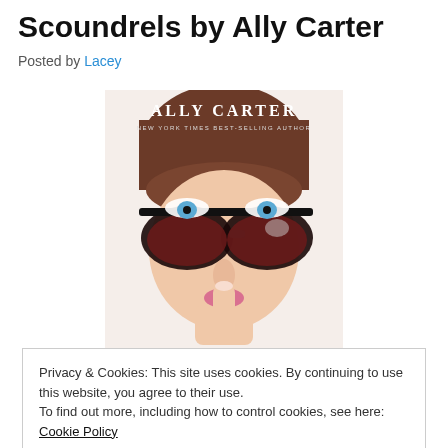Scoundrels by Ally Carter
Posted by Lacey
[Figure (photo): Book cover for a novel by Ally Carter (New York Times Best-Selling Author). The cover shows a close-up of a young woman's face with blue eyes wearing large dark sunglasses, holding a finger to her lips in a 'shushing' gesture.]
Privacy & Cookies: This site uses cookies. By continuing to use this website, you agree to their use.
To find out more, including how to control cookies, see here: Cookie Policy
Close and accept
Series: Heist Society #2 (full reading order below)